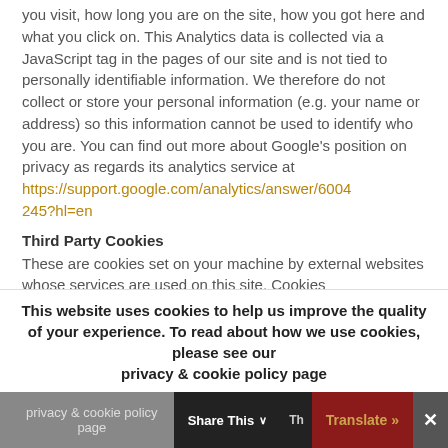you visit, how long you are on the site, how you got here and what you click on. This Analytics data is collected via a JavaScript tag in the pages of our site and is not tied to personally identifiable information. We therefore do not collect or store your personal information (e.g. your name or address) so this information cannot be used to identify who you are. You can find out more about Google's position on privacy as regards its analytics service at https://support.google.com/analytics/answer/6004245?hl=en
Third Party Cookies
These are cookies set on your machine by external websites whose services are used on this site. Cookies
This website uses cookies to help us improve the quality of your experience. To read about how we use cookies, please see our privacy & cookie policy page
Share This
Translate »
✕